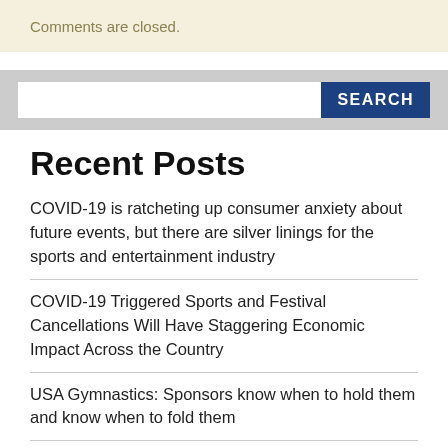Comments are closed.
[Figure (screenshot): Search bar with text input field and SEARCH button]
Recent Posts
COVID-19 is ratcheting up consumer anxiety about future events, but there are silver linings for the sports and entertainment industry
COVID-19 Triggered Sports and Festival Cancellations Will Have Staggering Economic Impact Across the Country
USA Gymnastics: Sponsors know when to hold them and know when to fold them
Sponsor dropped by spokesperson after insensitive